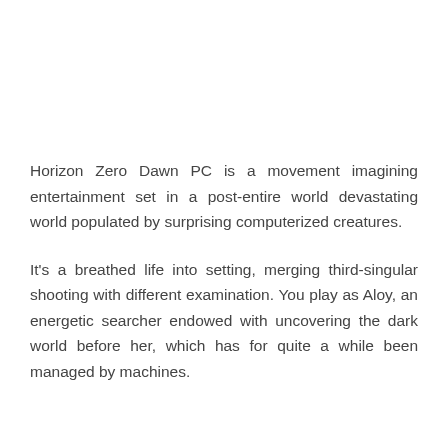Horizon Zero Dawn PC is a movement imagining entertainment set in a post-entire world devastating world populated by surprising computerized creatures.
It's a breathed life into setting, merging third-singular shooting with different examination. You play as Aloy, an energetic searcher endowed with uncovering the dark world before her, which has for quite a while been managed by machines.